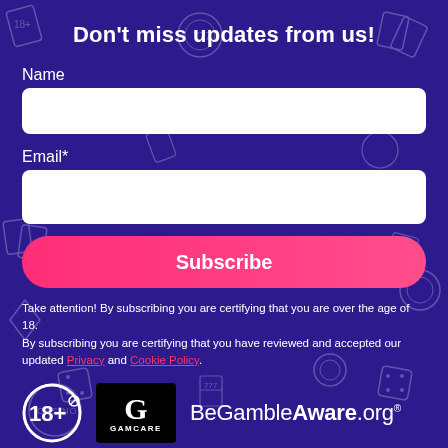Don't miss updates from us!
Name
[Figure (other): Name input field (white rectangle)]
Email*
[Figure (other): Email input field (white rectangle)]
[Figure (other): Subscribe button (pink/magenta rounded rectangle)]
Take attention! By subscribing you are certifying that you are over the age of 18.
By subscribing you are certifying that you have reviewed and accepted our updated Privacy and Cookie Policy.
[Figure (logo): 18+ logo, GamCare logo, and BeGambleAware.org logo]